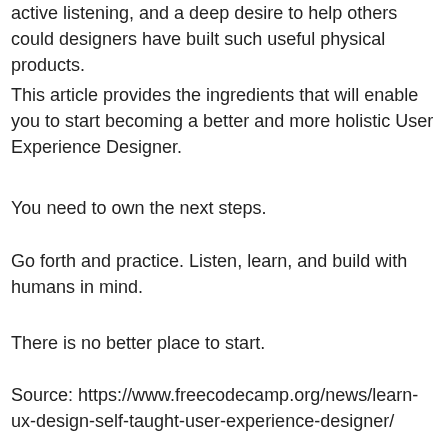active listening, and a deep desire to help others could designers have built such useful physical products.
This article provides the ingredients that will enable you to start becoming a better and more holistic User Experience Designer.
You need to own the next steps.
Go forth and practice. Listen, learn, and build with humans in mind.
There is no better place to start.
Source: https://www.freecodecamp.org/news/learn-ux-design-self-taught-user-experience-designer/